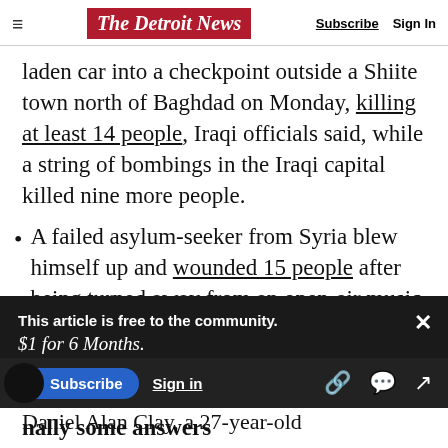The Detroit News — Subscribe | Sign In
laden car into a checkpoint outside a Shiite town north of Baghdad on Monday, killing at least 14 people, Iraqi officials said, while a string of bombings in the Iraqi capital killed nine more people.
A failed asylum-seeker from Syria blew himself up and wounded 15 people after being turned away from an open-air music festival in southern Germany, authorities said Monday. It
This article is free to the community. $1 for 6 Months. Subscribe now
nally some answers
Daniel Alan Clay, a 27-year-old